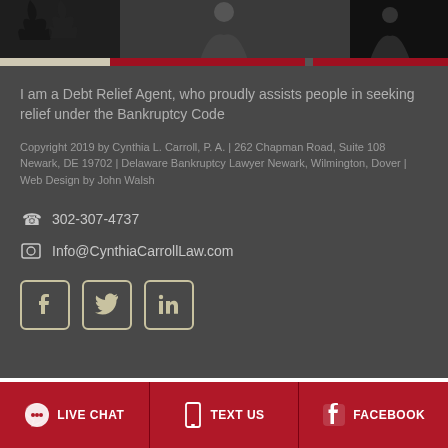[Figure (photo): Black and white photo strip at top of page showing partial figures/people]
I am a Debt Relief Agent, who proudly assists people in seeking relief under the Bankruptcy Code
Copyright 2019 by Cynthia L. Carroll, P. A. | 262 Chapman Road, Suite 108 Newark, DE 19702 | Delaware Bankruptcy Lawyer Newark, Wilmington, Dover | Web Design by John Walsh
302-307-4737
Info@CynthiaCarrollLaw.com
[Figure (logo): Social media icons: Facebook, Twitter, LinkedIn in outlined square boxes]
LIVE CHAT | TEXT US | FACEBOOK